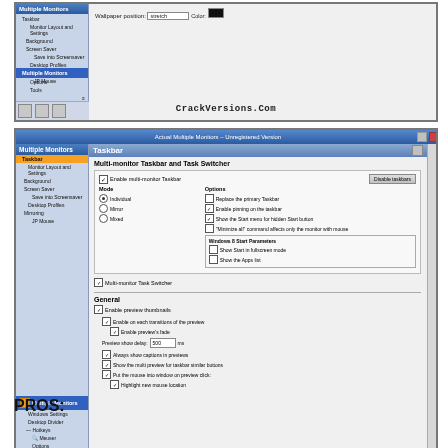[Figure (screenshot): Partial screenshot of Actual Multiple Monitors settings window showing background/wallpaper settings with navigation tree on left and wallpaper position dropdown on right with CrackVersions.Com watermark]
[Figure (screenshot): Full screenshot of Actual Multiple Monitors Unregistered Version settings window showing Taskbar settings panel with multi-monitor taskbar options, task switcher options, general preview thumbnail settings, and CrackVersions.Com watermark with OK, Cancel, Apply buttons]
PROS: